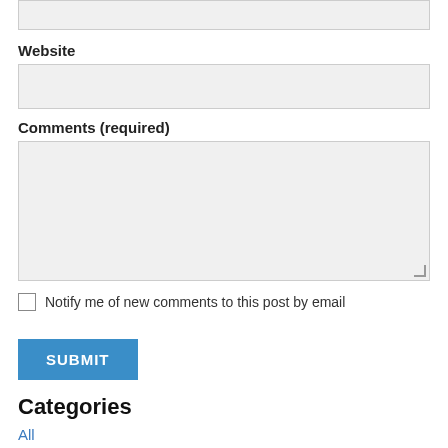[Figure (screenshot): Top input field (partial, top of page)]
Website
[Figure (screenshot): Website text input field]
Comments (required)
[Figure (screenshot): Comments textarea field]
Notify me of new comments to this post by email
[Figure (screenshot): SUBMIT button]
Categories
All
Artweeks